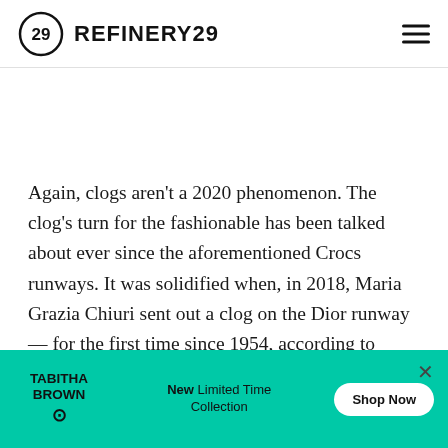REFINERY29
Again, clogs aren't a 2020 phenomenon. The clog's turn for the fashionable has been talked about ever since the aforementioned Crocs runways. It was solidified when, in 2018, Maria Grazia Chiuri sent out a clog on the Dior runway — for the first time since 1954, according to Paper. But, as the Lyst report suggests, clogs may be at their fashion peak now — thanks to us being in a time when a custom[er has] ... ss to make d[o with] ... omfort
[Figure (screenshot): Advertisement banner for Tabitha Brown New Limited Time Collection with Shop Now button on a teal/mint green background]